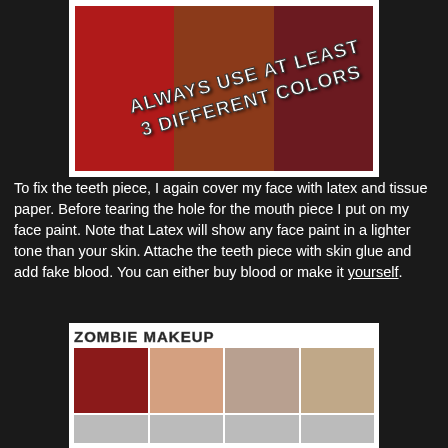[Figure (illustration): Three color blocks (dark red, burnt sienna, dark maroon) with diagonal text overlay reading 'ALWAYS USE AT LEAST 3 DIFFERENT COLORS']
To fix the teeth piece, I again cover my face with latex and tissue paper. Before tearing the hole for the mouth piece I put on my face paint. Note that Latex will show any face paint in a lighter tone than your skin. Attache the teeth piece with skin glue and add fake blood. You can either buy blood or make it yourself.
[Figure (photo): Zombie makeup tutorial collage with title 'ZOMBIE MAKEUP' and multiple photos showing a realistic zombie mouth prop and a woman's face at various stages of zombie makeup application]